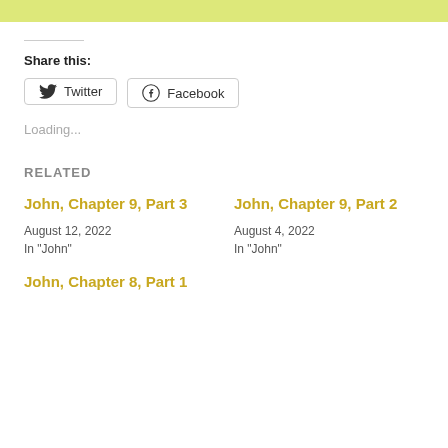[Figure (other): Yellow-green banner strip at top of page]
Share this:
[Figure (other): Twitter share button with bird icon]
[Figure (other): Facebook share button with F icon]
Loading...
RELATED
John, Chapter 9, Part 3
August 12, 2022
In "John"
John, Chapter 9, Part 2
August 4, 2022
In "John"
John, Chapter 8, Part 1